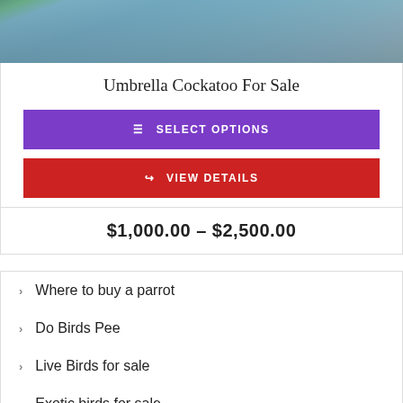[Figure (photo): Close-up photo of an Umbrella Cockatoo bird, showing grey/blue feathers, against a blurred background with green and wooden elements.]
Umbrella Cockatoo For Sale
SELECT OPTIONS
VIEW DETAILS
$1,000.00 – $2,500.00
Where to buy a parrot
Do Birds Pee
Live Birds for sale
Exotic birds for sale